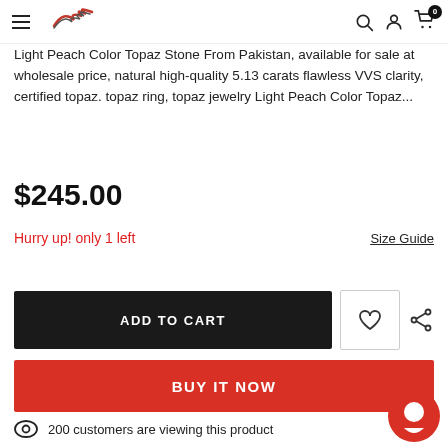Navigation header with hamburger menu, logo, search, account, and cart icons
Light Peach Color Topaz Stone From Pakistan, available for sale at wholesale price, natural high-quality 5.13 carats flawless VVS clarity, certified topaz. topaz ring, topaz jewelry Light Peach Color Topaz...
$245.00
Hurry up! only 1 left
Size Guide
ADD TO CART
BUY IT NOW
200 customers are viewing this product